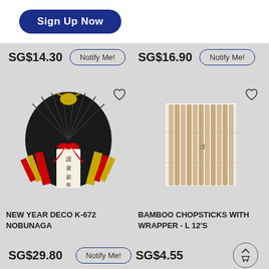[Figure (screenshot): Sign Up Now button on white banner background]
SG$14.30
Notify Me!
SG$16.90
Notify Me!
[Figure (photo): New Year Deco K-672 Nobunaga - Japanese new year decoration with black fan, gold crane, red bow, and golden/red ornaments with kanji text]
[Figure (photo): Bamboo chopsticks with wrapper - L 12's, showing a pack of chopsticks in clear wrapper with green design]
NEW YEAR DECO K-672 NOBUNAGA
BAMBOO CHOPSTICKS WITH WRAPPER - L 12'S
SG$29.80
Notify Me!
SG$4.55